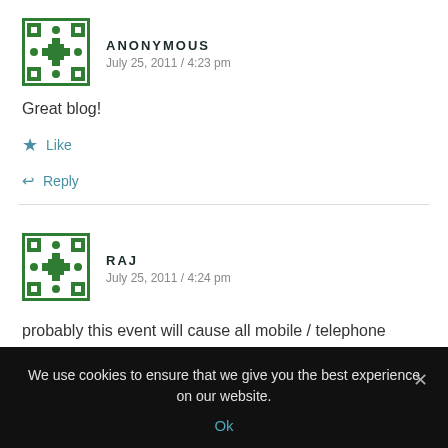[Figure (illustration): Green decorative avatar icon for Anonymous commenter]
ANONYMOUS
July 25, 2011 / 4:23 pm
Great blog!
★ Like
↩ Reply
[Figure (illustration): Green decorative avatar icon for Raj commenter]
RAJ
July 25, 2011 / 4:24 pm
probably this event will cause all mobile / telephone operators to tune up their security measures & make life
We use cookies to ensure that we give you the best experience on our website.
Ok